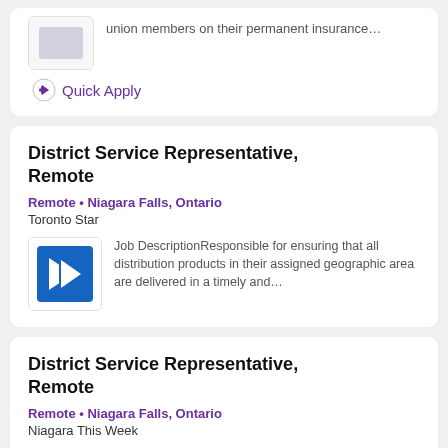union members on their permanent insurance…
Quick Apply
District Service Representative, Remote
Remote • Niagara Falls, Ontario
Toronto Star
Job DescriptionResponsible for ensuring that all distribution products in their assigned geographic area are delivered in a timely and…
District Service Representative, Remote
Remote • Niagara Falls, Ontario
Niagara This Week
Job Description. Responsible for ensuring that all distribution products in their assigned geographic area are…